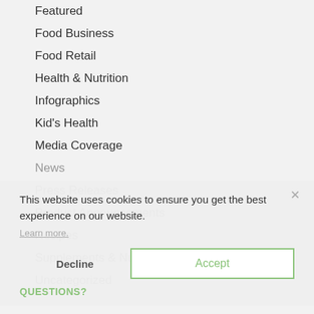Featured
Food Business
Food Retail
Health & Nutrition
Infographics
Kid's Health
Media Coverage
News
Press Releases
Product Announcements
Recipes
Supplements & Nutraceuticals
Uncategorized
This website uses cookies to ensure you get the best experience on our website.
Learn more.
Decline
Accept
QUESTIONS?